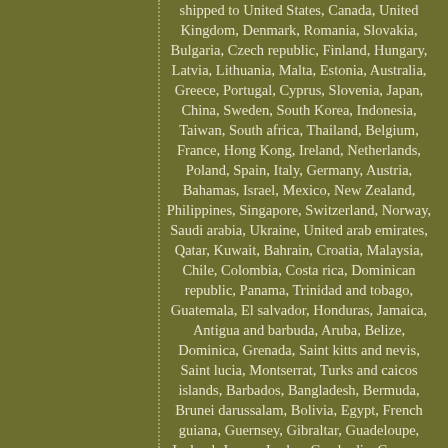shipped to United States, Canada, United Kingdom, Denmark, Romania, Slovakia, Bulgaria, Czech republic, Finland, Hungary, Latvia, Lithuania, Malta, Estonia, Australia, Greece, Portugal, Cyprus, Slovenia, Japan, China, Sweden, South Korea, Indonesia, Taiwan, South africa, Thailand, Belgium, France, Hong Kong, Ireland, Netherlands, Poland, Spain, Italy, Germany, Austria, Bahamas, Israel, Mexico, New Zealand, Philippines, Singapore, Switzerland, Norway, Saudi arabia, Ukraine, United arab emirates, Qatar, Kuwait, Bahrain, Croatia, Malaysia, Chile, Colombia, Costa rica, Dominican republic, Panama, Trinidad and tobago, Guatemala, El salvador, Honduras, Jamaica, Antigua and barbuda, Aruba, Belize, Dominica, Grenada, Saint kitts and nevis, Saint lucia, Montserrat, Turks and caicos islands, Barbados, Bangladesh, Bermuda, Brunei darussalam, Bolivia, Egypt, French guiana, Guernsey, Gibraltar, Guadeloupe, Iceland, Jersey, Jordan, Cambodia, Cayman islands, Liechtenstein, Sri lanka, Luxembourg, Monaco, Macao, Martinique, Maldives, Nicaragua, Oman, Pakistan, Paraguay, Reunion, Uruguay, Russian federation.